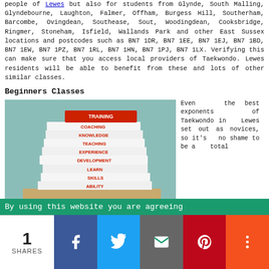people of Lewes but also for students from Glynde, South Malling, Glyndebourne, Laughton, Falmer, Offham, Burgess Hill, Southerham, Barcombe, Ovingdean, Southease, Sout, Woodingdean, Cooksbridge, Ringmer, Stoneham, Isfield, Wallands Park and other East Sussex locations and postcodes such as BN7 1DR, BN7 1EE, BN7 1EJ, BN7 1BD, BN7 1EW, BN7 1PZ, BN7 1RL, BN7 1HN, BN7 1PJ, BN7 1LX. Verifying this can make sure that you access local providers of Taekwondo. Lewes residents will be able to benefit from these and lots of other similar classes.
Beginners Classes
[Figure (photo): Stack of books with words: TRAINING (red cover on top), COACHING, KNOWLEDGE, TEACHING, EXPERIENCE, DEVELOPMENT, LEARN, SKILLS, ABILITY printed on the spines, set against a teal/mint background.]
Even the best exponents of Taekwondo in Lewes set out as novices, so it's no shame to be a total
By using this website you are agreeing